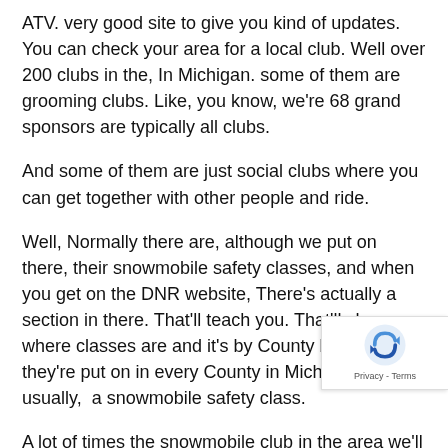ATV. very good site to give you kind of updates. You can check your area for a local club. Well over 200 clubs in the, In Michigan. some of them are grooming clubs. Like, you know, we're 68 grand sponsors are typically all clubs.
And some of them are just social clubs where you can get together with other people and ride.
Well, Normally there are, although we put on there, their snowmobile safety classes, and when you get on the DNR website, There's actually a section in there. That'll teach you. That'll show you where classes are and it's by County because they're put on in every County in Michigan, there's usually,  a snowmobile safety class.
A lot of times the snowmobile club in the area we'll hold one class. The club that I belong to the snowman. So we typically do you want to Wayne open to McComb Co the big issue this year is that with the COVID. the gov has shut down the DNRs. Safety program, for in-person